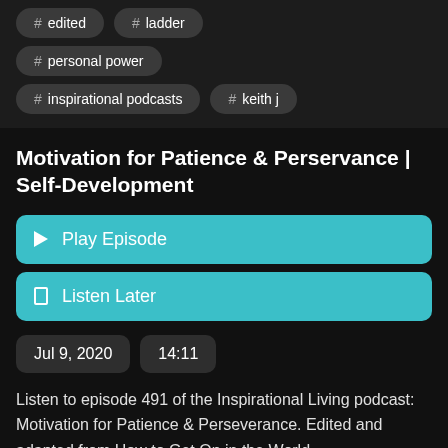# edited
# ladder
# personal power
# inspirational podcasts
# keith j
Motivation for Patience & Perservance | Self-Development
Play Episode
Listen Later
Jul 9, 2020
14:11
Listen to episode 491 of the Inspirational Living podcast: Motivation for Patience & Perseverance. Edited and adapted from How to Get On in the World